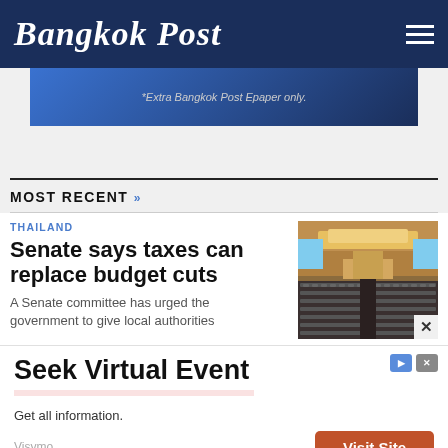Bangkok Post
[Figure (screenshot): Blue gradient advertisement banner with italic text: *Extra Bangkok Post Epaper only.]
MOST RECENT »
THAILAND
Senate says taxes can replace budget cuts
A Senate committee has urged the government to give local authorities
[Figure (photo): Photo of a large legislative chamber/parliament hall with rows of seats, warm lighting and wood paneling]
[Figure (screenshot): Advertisement overlay: Seek Virtual Event - Get all information. - Visymo - Visit Site button]